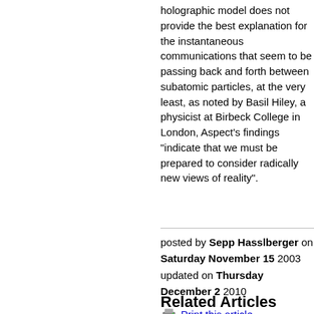holographic model does not provide the best explanation for the instantaneous communications that seem to be passing back and forth between subatomic particles, at the very least, as noted by Basil Hiley, a physicist at Birbeck College in London, Aspect's findings "indicate that we must be prepared to consider radically new views of reality".
posted by Sepp Hasslberger on Saturday November 15 2003 updated on Thursday December 2 2010
Print this article
Related Articles